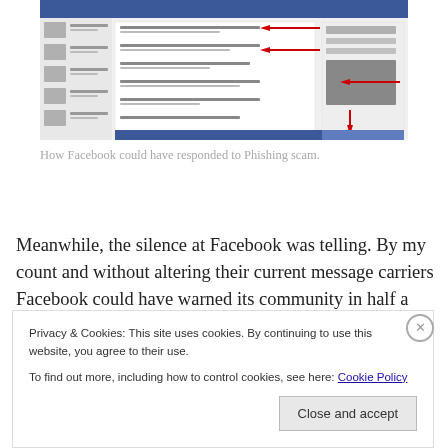[Figure (screenshot): Screenshot of a Facebook page showing news feed posts with red arrows pointing to various UI elements, including notifications and sidebar widgets.]
How Facebook could have responded to Phishing scam.
Meanwhile, the silence at Facebook was telling. By my count and without altering their current message carriers Facebook could have warned its community in half a
Privacy & Cookies: This site uses cookies. By continuing to use this website, you agree to their use.
To find out more, including how to control cookies, see here: Cookie Policy
Close and accept